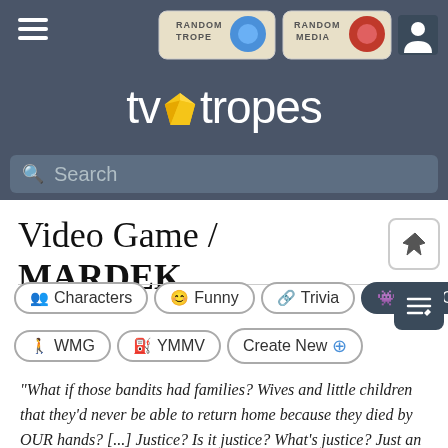TV Tropes — Random Trope, Random Media, Search
Video Game / MARDEK
Characters | Funny | Trivia | VideoGame | WMG | YMMV | Create New
"What if those bandits had families? Wives and little children that they'd never be able to return home because they died by OUR hands? [...] Justice? Is it justice? What's justice? Just an opinion, really... I mean, those bandits... They could've been doing what they thought was right, what was just' in their eyes... It's just that their